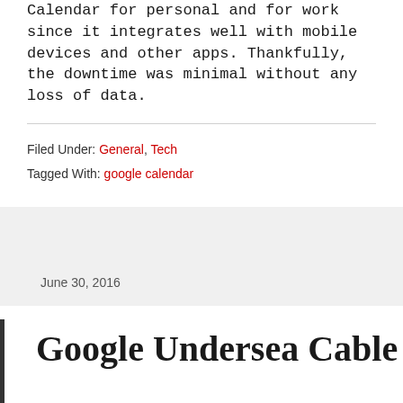Calendar for personal and for work since it integrates well with mobile devices and other apps. Thankfully, the downtime was minimal without any loss of data.
Filed Under: General, Tech
Tagged With: google calendar
June 30, 2016
Google Undersea Cable